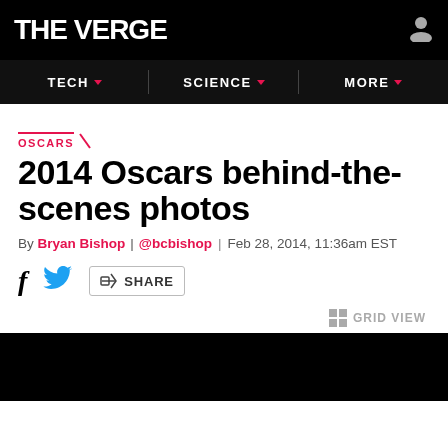THE VERGE
TECH | SCIENCE | MORE
OSCARS
2014 Oscars behind-the-scenes photos
By Bryan Bishop | @bcbishop | Feb 28, 2014, 11:36am EST
SHARE
GRID VIEW
[Figure (photo): Black image area at bottom of page]